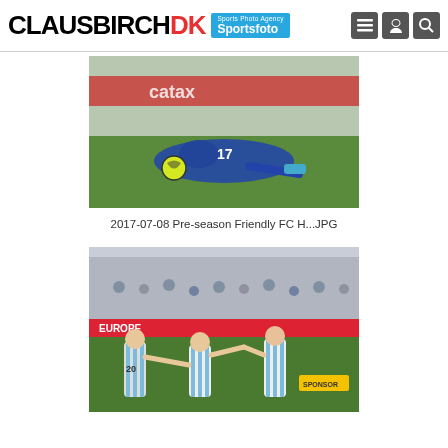CLAUSBIRCHDK Sportsfoto — Sports Photo Agency — navigation icons
[Figure (photo): Soccer player in blue diving on ground trying to save a ball during a pre-season friendly match, with a player number 17 visible.]
2017-07-08 Pre-season Friendly FC H...JPG
[Figure (photo): Three football players in light blue and white striped jerseys celebrating or talking on the pitch, with number 20 visible and crowd in background.]